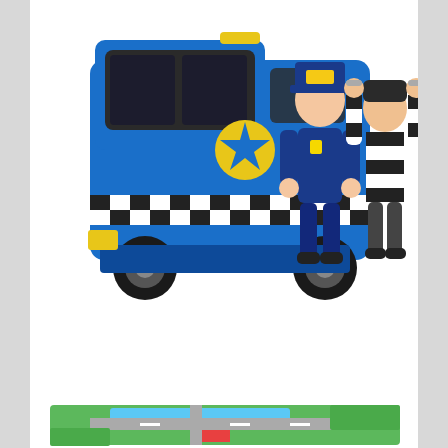[Figure (photo): Toy wooden police van/truck in blue with checkered pattern and badge, accompanied by two figurines: a police officer in blue uniform and a prisoner in black and white striped outfit with hands raised]
HAPE POLICE CAR WITH SIREN
$17.99
Add to wishlist
[Figure (photo): Partial view of a colorful toy play mat/map with green areas, a blue river, red buildings, and roads, partially visible at the bottom of the page]